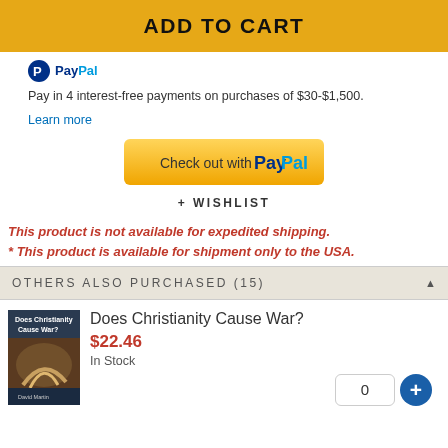ADD TO CART
PayPal Pay in 4 interest-free payments on purchases of $30-$1,500. Learn more
[Figure (screenshot): Check out with PayPal button]
+ WISHLIST
This product is not available for expedited shipping.
* This product is available for shipment only to the USA.
OTHERS ALSO PURCHASED (15)
[Figure (photo): Book cover: Does Christianity Cause War?]
Does Christianity Cause War?
$22.46
In Stock